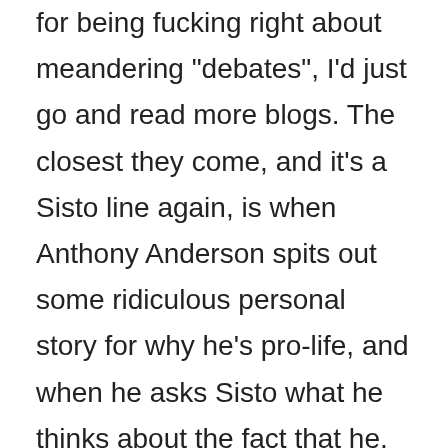for being fucking right about meandering "debates", I'd just go and read more blogs. The closest they come, and it's a Sisto line again, is when Anthony Anderson spits out some ridiculous personal story for why he's pro-life, and when he asks Sisto what he thinks about the fact that he, Anthony Anderson, was almost aborted, Sisto just screws up his face--in that way that let's you see that he knows what